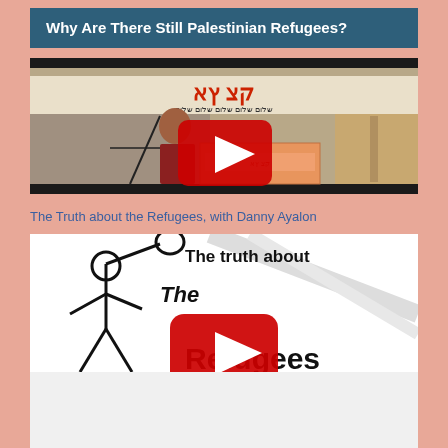Why Are There Still Palestinian Refugees?
[Figure (screenshot): Video thumbnail showing a woman speaker at a podium with Hebrew text banner in background, with a YouTube play button overlay]
The Truth about the Refugees, with Danny Ayalon
[Figure (screenshot): Video thumbnail showing 'The truth about The Refugees' text with a stick figure carrying a bundle, and a YouTube play button overlay]